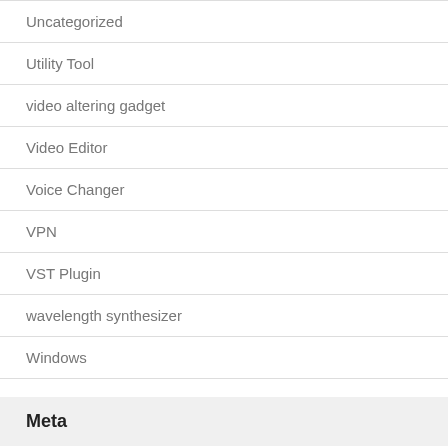Uncategorized
Utility Tool
video altering gadget
Video Editor
Voice Changer
VPN
VST Plugin
wavelength synthesizer
Windows
Meta
Log in
Entries feed
Comments feed